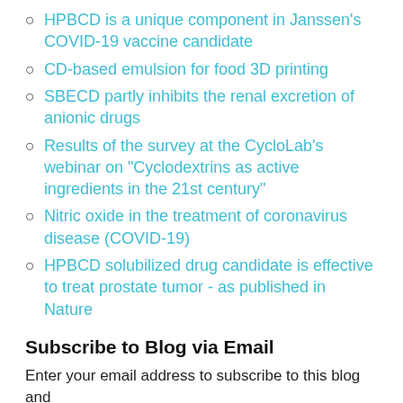HPBCD is a unique component in Janssen's COVID-19 vaccine candidate
CD-based emulsion for food 3D printing
SBECD partly inhibits the renal excretion of anionic drugs
Results of the survey at the CycloLab's webinar on "Cyclodextrins as active ingredients in the 21st century"
Nitric oxide in the treatment of coronavirus disease (COVID-19)
HPBCD solubilized drug candidate is effective to treat prostate tumor - as published in Nature
Subscribe to Blog via Email
Enter your email address to subscribe to this blog and